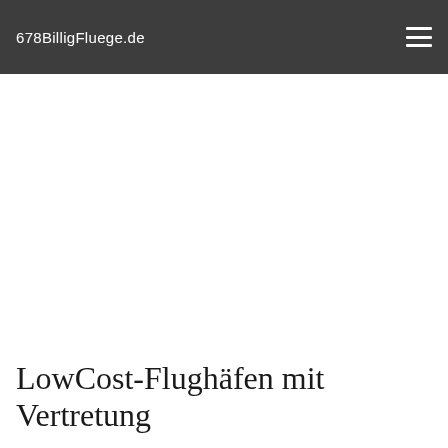678BilligFluege.de
LowCost-Flughäfen mit Vertretung